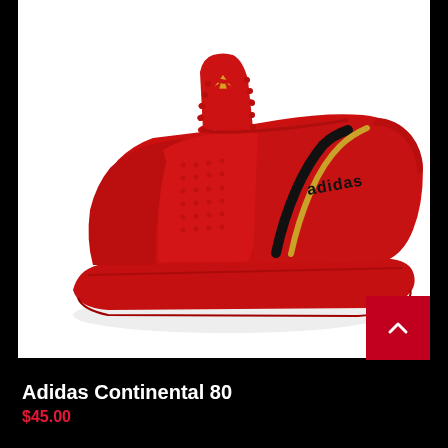[Figure (photo): Red Adidas Continental 80 sneaker on white background, shown from a three-quarter front angle. The shoe is all red leather with black and gold stripe detail on the side and the Adidas logo on the tongue.]
Adidas Continental 80
$45.00